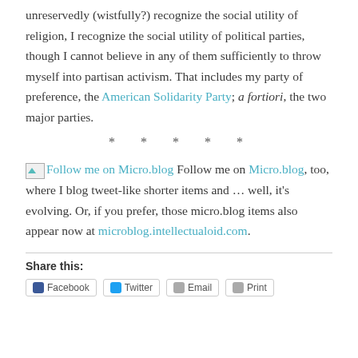unreservedly (wistfully?) recognize the social utility of religion, I recognize the social utility of political parties, though I cannot believe in any of them sufficiently to throw myself into partisan activism. That includes my party of preference, the American Solidarity Party; a fortiori, the two major parties.
* * * * *
Follow me on Micro.blog Follow me on Micro.blog, too, where I blog tweet-like shorter items and … well, it's evolving. Or, if you prefer, those micro.blog items also appear now at microblog.intellectualoid.com.
Share this:
Facebook Twitter Email Print